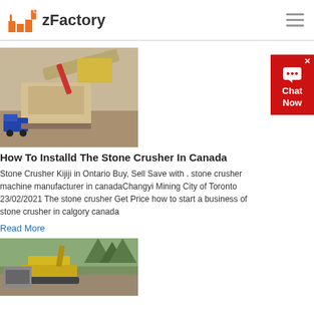zFactory
[Figure (photo): Aerial view of a stone crusher machine at a mining/quarry site with excavator and truck]
How To Installd The Stone Crusher In Canada
Stone Crusher Kijiji in Ontario Buy, Sell Save with . stone crusher machine manufacturer in canadaChangyi Mining City of Toronto 23/02/2021 The stone crusher Get Price how to start a business of stone crusher in calgory canada
Read More
[Figure (photo): Stone crusher equipment at a quarry site with excavator machinery]